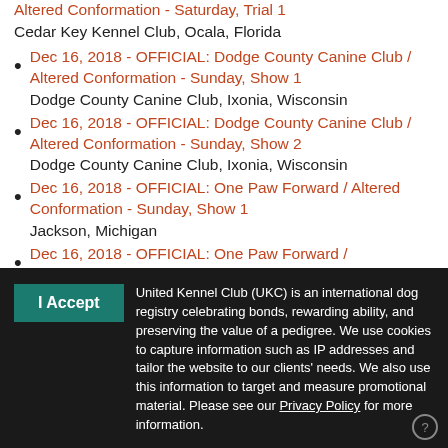Altered Conformation - Saturday, Trial 1
Cedar Key Kennel Club, Ocala, Florida
Dec 16, 2018 - OFFICIAL: Dodge County Canine Club / Altered Conformation - Sunday, Show 1
Dodge County Canine Club, Ixonia, Wisconsin
Dec 16, 2018 - OFFICIAL: Dodge County Canine Club / Altered Conformation - Sunday, Show 2
Dodge County Canine Club, Ixonia, Wisconsin
Dec 16, 2018 - OFFICIAL: One Paw Forward / Altered Conformation - Sunday, Show 1
Jackson, Michigan
Dec 16, 2018 - OFFICIAL: One Paw Forward /
I Accept
United Kennel Club (UKC) is an international dog registry celebrating bonds, rewarding ability, and preserving the value of a pedigree. We use cookies to capture information such as IP addresses and tailor the website to our clients' needs. We also use this information to target and measure promotional material. Please see our Privacy Policy for more information.